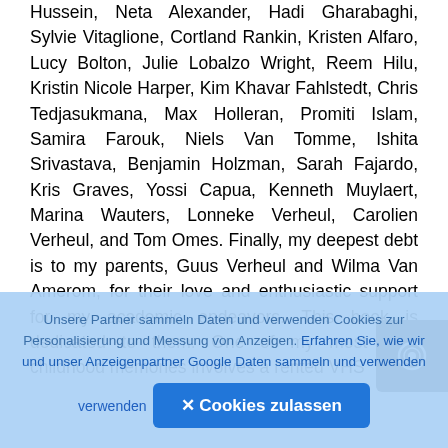Hussein, Neta Alexander, Hadi Gharabaghi, Sylvie Vitaglione, Cortland Rankin, Kristen Alfaro, Lucy Bolton, Julie Lobalzo Wright, Reem Hilu, Kristin Nicole Harper, Kim Khavar Fahlstedt, Chris Tedjasukmana, Max Holleran, Promiti Islam, Samira Farouk, Niels Van Tomme, Ishita Srivastava, Benjamin Holzman, Sarah Fajardo, Kris Graves, Yossi Capua, Kenneth Muylaert, Marina Wauters, Lonneke Verheul, Carolien Verheul, and Tom Omes. Finally, my deepest debt is to my parents, Guus Verheul and Wilma Van Amerom, for their love and enthusiastic support for my academic endeavors. This book is dedicated to them. One of my most vivid childhood memories involves a rented VHS
Unsere Partner sammeln Daten und verwenden Cookies zur Personalisierung und Messung von Anzeigen. Erfahren Sie, wie wir und unser Anzeigenpartner Google Daten sammeln und verwenden